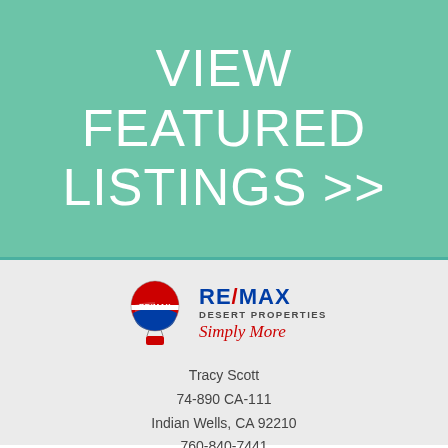VIEW FEATURED LISTINGS >>
[Figure (logo): RE/MAX Desert Properties logo with hot air balloon and 'Simply More' tagline]
Tracy Scott
74-890 CA-111
Indian Wells, CA 92210
760-840-7441